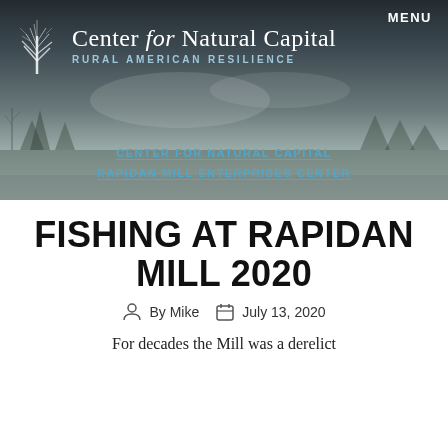Center for Natural Capital — Rural American Resilience
MENU
CENTER FOR NATURAL CAPITAL / RAPIDAN MILL ENTERPRISES CENTER
FISHING AT RAPIDAN MILL 2020
By Mike  July 13, 2020
For decades the Mill was a derelict